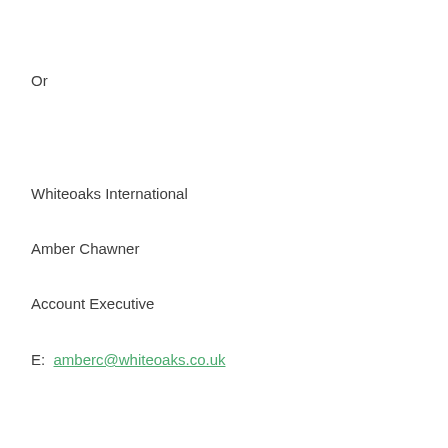Or
Whiteoaks International
Amber Chawner
Account Executive
E:  amberc@whiteoaks.co.uk